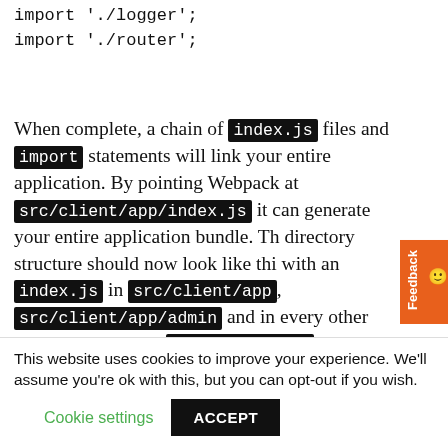import './logger';
import './router';
When complete, a chain of index.js files and import statements will link your entire application. By pointing Webpack at src/client/app/index.js it can generate your entire application bundle. The directory structure should now look like this with an index.js in src/client/app, src/client/app/admin and in every other subdirectory under src/client/app:
directory structure of the generated...
This website uses cookies to improve your experience. We'll assume you're ok with this, but you can opt-out if you wish. Cookie settings ACCEPT